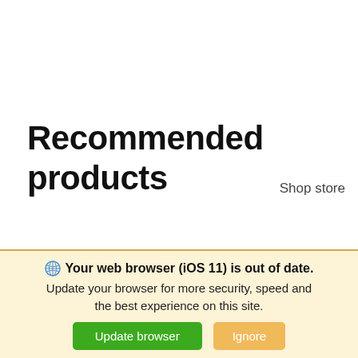Recommended products
Shop store
Your web browser (iOS 11) is out of date. Update your browser for more security, speed and the best experience on this site.
Update browser
Ignore